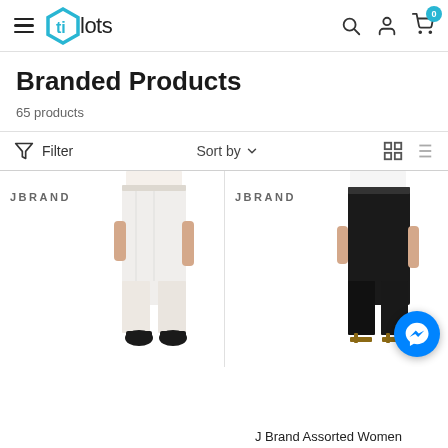tillots - navigation header with hamburger menu, logo, search, user, and cart (0 items)
Branded Products
65 products
Filter  Sort by  (grid/list view toggle)
[Figure (photo): J Brand white pants product image on model (cropped, no head), JBRAND logo text on left]
[Figure (photo): J Brand black pants product image on model (cropped, no head), JBRAND logo text on left]
J Brand Assorted Women